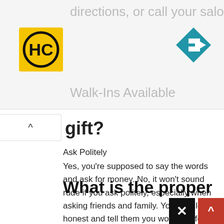[Figure (screenshot): Advertisement banner with HC logo (yellow square with black HC text), navigation arrow icon (blue diamond with white right-turn arrow), text 'directions, or call your salon!' and 'Walk-Ins Available' in light gray]
gift?
Ask Politely
Yes, you're supposed to say the words and ask for money. No, it won't sound rude if you ask politely, especially when asking friends and family. You should be honest and tell them you would prefer money over gifts for your birthday. Tell them what you want to do or buy with the money.
What is the proper